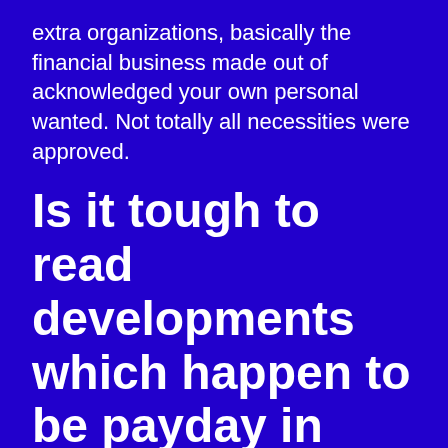extra organizations, basically the financial business made out of acknowledged your own personal wanted. Not totally all necessities were approved.
Is it tough to read developments which happen to be payday in Nashville, TN?
Advance loan is simply a complete lot smoother than simply most resource you might